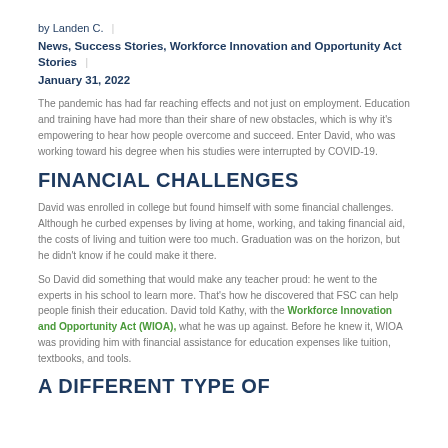by Landen C.  |
News, Success Stories, Workforce Innovation and Opportunity Act Stories  |
January 31, 2022
The pandemic has had far reaching effects and not just on employment. Education and training have had more than their share of new obstacles, which is why it's empowering to hear how people overcome and succeed. Enter David, who was working toward his degree when his studies were interrupted by COVID-19.
FINANCIAL CHALLENGES
David was enrolled in college but found himself with some financial challenges. Although he curbed expenses by living at home, working, and taking financial aid, the costs of living and tuition were too much. Graduation was on the horizon, but he didn't know if he could make it there.
So David did something that would make any teacher proud: he went to the experts in his school to learn more. That's how he discovered that FSC can help people finish their education. David told Kathy, with the Workforce Innovation and Opportunity Act (WIOA), what he was up against. Before he knew it, WIOA was providing him with financial assistance for education expenses like tuition, textbooks, and tools.
A DIFFERENT TYPE OF